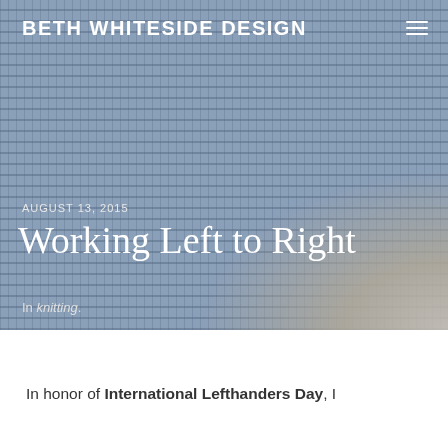BETH WHITESIDE DESIGN
[Figure (photo): Close-up photograph of a knitted fabric in blue-grey tones, with a lighter grey fabric or wood surface visible in the lower right corner.]
AUGUST 13, 2015
Working Left to Right
In knitting.
In honor of International Lefthanders Day, I